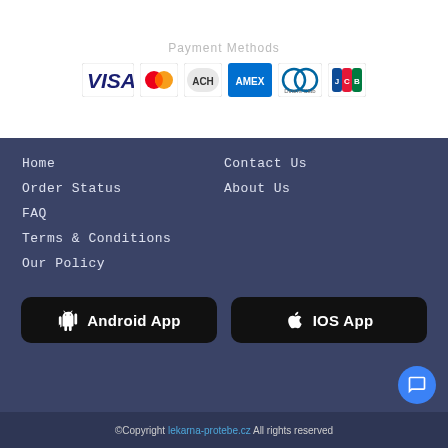Payment Methods
[Figure (logo): Payment method logos: VISA, MasterCard, ACH, AMEX, Diners Club, JCB]
Home
Order Status
FAQ
Terms & Conditions
Our Policy
Contact Us
About Us
[Figure (other): Android App download button (black rounded rectangle with Android robot icon)]
[Figure (other): IOS App download button (black rounded rectangle with Apple logo)]
©Copyright lekarna-protebe.cz All rights reserved